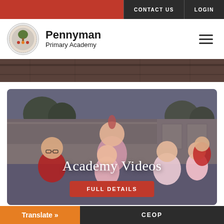CONTACT US   LOGIN
Pennyman Primary Academy
[Figure (photo): School children smiling outside in the playground, wearing red and pink uniforms. A banner overlay reads 'Academy Videos' with a red 'FULL DETAILS' button below.]
Academy Videos
FULL DETAILS
Translate »   CEOP